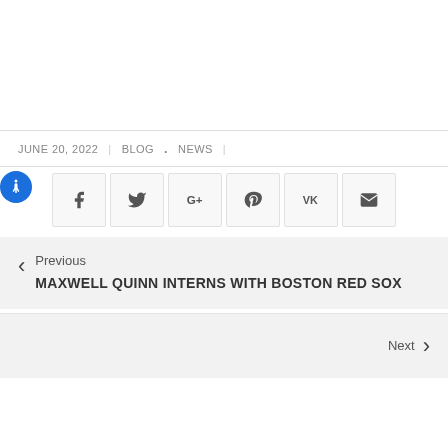JUNE 20, 2022  |  BLOG . NEWS |
[Figure (infographic): Row of social sharing buttons: Facebook, Twitter, Google+, Pinterest, VK, Email/envelope icons, each in a light bordered square. An accessibility icon (person figure in blue circle) is to the left.]
Previous
MAXWELL QUINN INTERNS WITH BOSTON RED SOX
Next